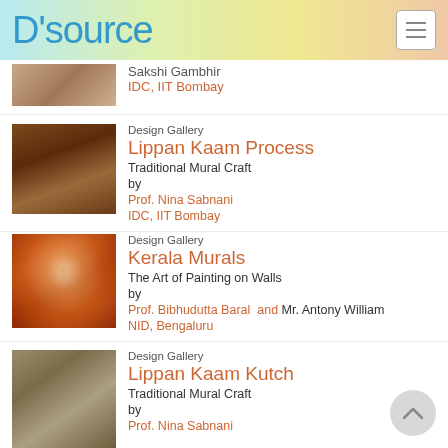D'source
Sakshi Gambhir
IDC, IIT Bombay
Design Gallery
Lippan Kaam Process
Traditional Mural Craft
by
Prof. Nina Sabnani
IDC, IIT Bombay
Design Gallery
Kerala Murals
The Art of Painting on Walls
by
Prof. Bibhudutta Baral  and Mr. Antony William
NID, Bengaluru
Design Gallery
Lippan Kaam Kutch
Traditional Mural Craft
by
Prof. Nina Sabnani